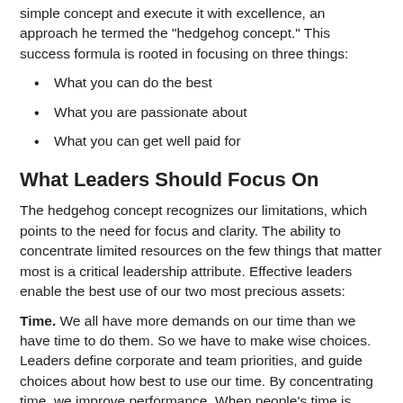simple concept and execute it with excellence, an approach he termed the "hedgehog concept." This success formula is rooted in focusing on three things:
What you can do the best
What you are passionate about
What you can get well paid for
What Leaders Should Focus On
The hedgehog concept recognizes our limitations, which points to the need for focus and clarity. The ability to concentrate limited resources on the few things that matter most is a critical leadership attribute. Effective leaders enable the best use of our two most precious assets:
Time. We all have more demands on our time than we have time to do them. So we have to make wise choices. Leaders define corporate and team priorities, and guide choices about how best to use our time. By concentrating time, we improve performance. When people's time is spread over too many activities or, worse, spent on tasks that yield little